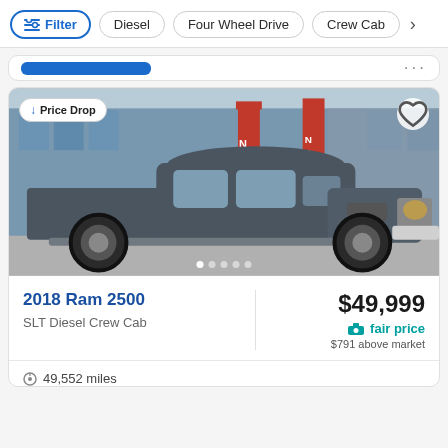Filter | Diesel | Four Wheel Drive | Crew Cab
[Figure (photo): 2018 Ram 2500 gray pickup truck parked in front of a Nissan dealership with red banner flags]
Price Drop
2018 Ram 2500
SLT Diesel Crew Cab
$49,999
fair price
$791 above market
49,552 miles